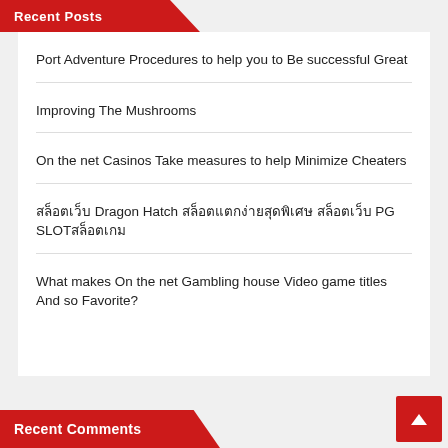Recent Posts
Port Adventure Procedures to help you to Be successful Great
Improving The Mushrooms
On the net Casinos Take measures to help Minimize Cheaters
สล็อตเว็บ Dragon Hatch สล็อตแตกง่ายสุดพิเศษ สล็อตเว็บ PG SLOTสล็อตเกม
What makes On the net Gambling house Video game titles And so Favorite?
Recent Comments